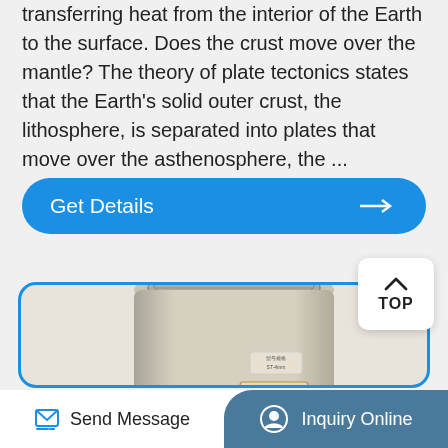transferring heat from the interior of the Earth to the surface. Does the crust move over the mantle? The theory of plate tectonics states that the Earth's solid outer crust, the lithosphere, is separated into plates that move over the asthenosphere, the ...
[Figure (other): Blue rounded 'Get Details' button with arrow pointing right]
[Figure (photo): Cylindrical industrial air filter or dust collector product, beige/cream colored, with labels on the side, displayed in a rounded blue-bordered card]
Send Message
Inquiry Online